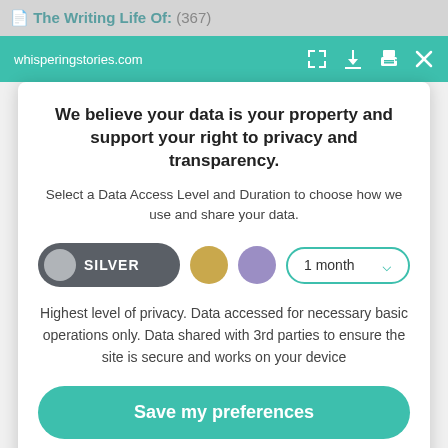The Writing Life Of: (367)
whisperingstories.com
We believe your data is your property and support your right to privacy and transparency.
Select a Data Access Level and Duration to choose how we use and share your data.
[Figure (other): Data access level selector with SILVER toggle button, gold circle, purple circle, and '1 month' dropdown]
Highest level of privacy. Data accessed for necessary basic operations only. Data shared with 3rd parties to ensure the site is secure and works on your device
Save my preferences
Customize
Privacy policy